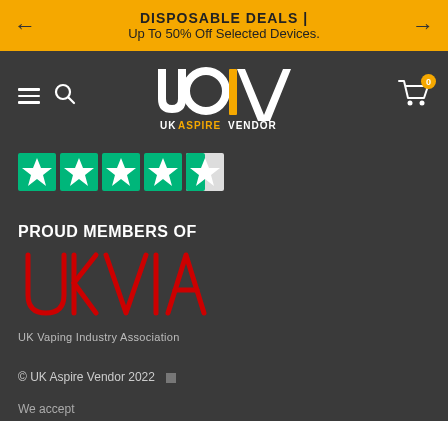DISPOSABLE DEALS | Up To 50% Off Selected Devices.
[Figure (logo): UK Aspire Vendor logo with hamburger menu, search icon, and cart showing 0 items on a dark gray navigation bar]
[Figure (other): Trustpilot 4.5 star rating displayed as green star icons]
PROUD MEMBERS OF
[Figure (logo): UKVIA - UK Vaping Industry Association logo in red and white]
© UK Aspire Vendor 2022
We accept